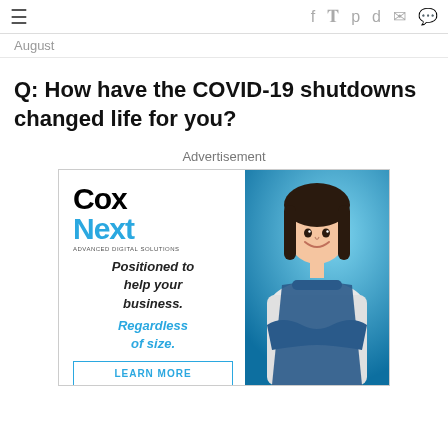≡  f  𝕎  𝒫  𝕤  ✉  💬
August
Q: How have the COVID-19 shutdowns changed life for you?
Advertisement
[Figure (other): Cox Next advertisement banner. Left side: Cox Next logo (Cox in black, Next in blue), tagline 'ADVANCED DIGITAL SOLUTIONS', text 'Positioned to help your business.' in bold italic, 'Regardless of size.' in blue italic, and a LEARN MORE button. Right side: photo of a smiling young Asian woman wearing a blue apron, arms crossed, against a blue background.]